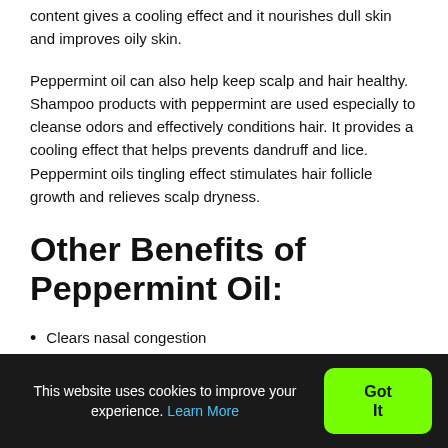content gives a cooling effect and it nourishes dull skin and improves oily skin.
Peppermint oil can also help keep scalp and hair healthy. Shampoo products with peppermint are used especially to cleanse odors and effectively conditions hair. It provides a cooling effect that helps prevents dandruff and lice. Peppermint oils tingling effect stimulates hair follicle growth and relieves scalp dryness.
Other Benefits of Peppermint Oil:
Clears nasal congestion
This website uses cookies to improve your experience. Learn More
Got It